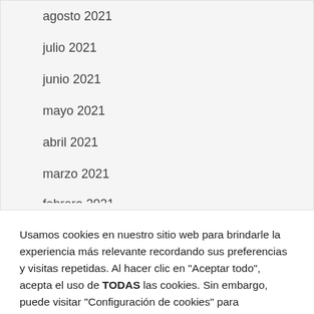agosto 2021
julio 2021
junio 2021
mayo 2021
abril 2021
marzo 2021
febrero 2021
Usamos cookies en nuestro sitio web para brindarle la experiencia más relevante recordando sus preferencias y visitas repetidas. Al hacer clic en "Aceptar todo", acepta el uso de TODAS las cookies. Sin embargo, puede visitar "Configuración de cookies" para proporcionar un consentimiento controlado.
Configuración de cookies
Aceptar todo